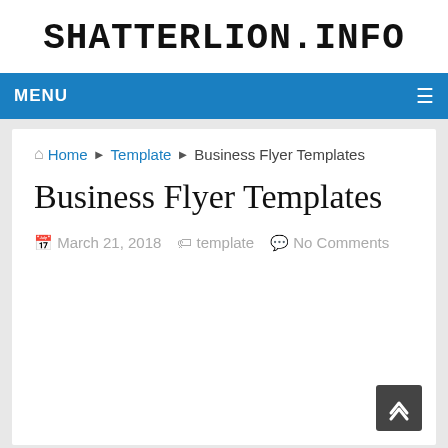SHATTERLION.INFO
MENU
Home ▶ Template ▶ Business Flyer Templates
Business Flyer Templates
March 21, 2018  template  No Comments